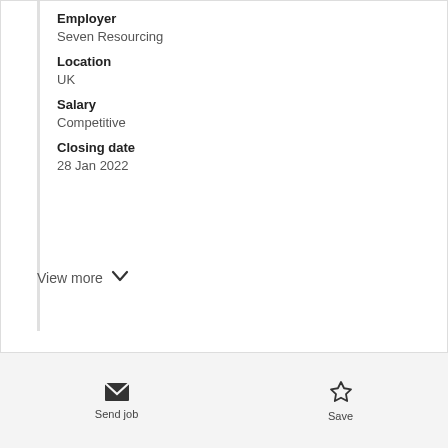Employer
Seven Resourcing
Location
UK
Salary
Competitive
Closing date
28 Jan 2022
View more
Send job
Save